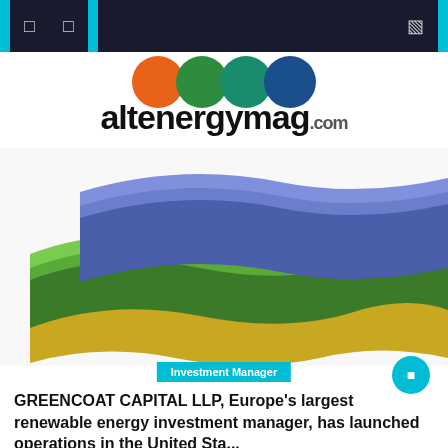altenergymag.com
[Figure (logo): altenergymag.com logo with four colored circles (orange, green, teal, blue) above the wordmark]
[Figure (photo): Stacked wavy corrugated solar panel or roofing material sheets in yellow, green, and blue/purple colors on white background]
Investment Manager
GREENCOAT CAPITAL LLP, Europe's largest renewable energy investment manager, has launched operations in the United Sta...